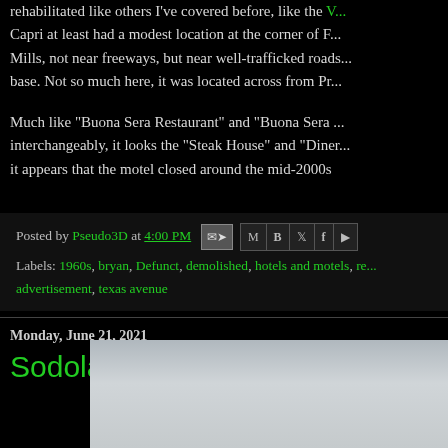rehabilitated like others I've covered before, like the V... Capri at least had a modest location at the corner of F... Mills, not near freeways, but near well-trafficked roads... base. Not so much here, it was located across from Pr...
Much like "Buona Sera Restaurant" and "Buona Sera ..." interchangeably, it looks the "Steak House" and "Diner... it appears that the motel closed around the mid-2000s
Posted by Pseudo3D at 4:00 PM
Labels: 1960s, bryan, Defunct, demolished, hotels and motels, re... advertisement, texas avenue
Monday, June 21, 2021
Sodolak's on Highway 21
[Figure (photo): Partial view of a photo with grey/sky background, bottom portion of page]